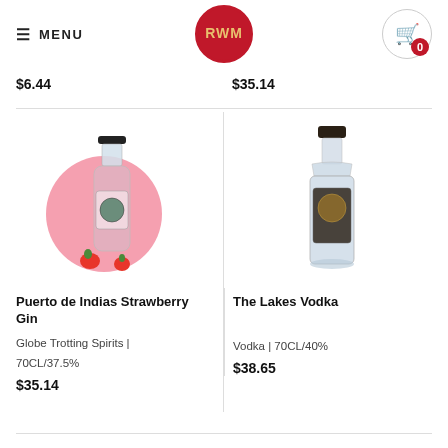≡ MENU | RWM | Cart (0)
$6.44
$35.14
[Figure (photo): Puerto de Indias Strawberry Gin bottle with pink circle background and strawberry decoration]
[Figure (photo): The Lakes Vodka clear bottle]
Puerto de Indias Strawberry Gin
Globe Trotting Spirits |
70CL/37.5%
$35.14
The Lakes Vodka
Vodka | 70CL/40%
$38.65